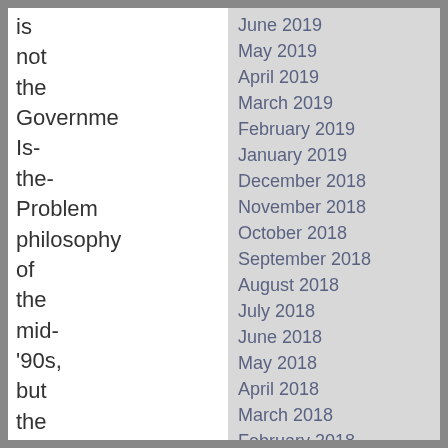is not the Government-Is-the-Problem philosophy of the mid-'90s, but the philosophy of a governing majority party in
June 2019
May 2019
April 2019
March 2019
February 2019
January 2019
December 2018
November 2018
October 2018
September 2018
August 2018
July 2018
June 2018
May 2018
April 2018
March 2018
February 2018
January 2018
December 2017
November 2017
October 2017